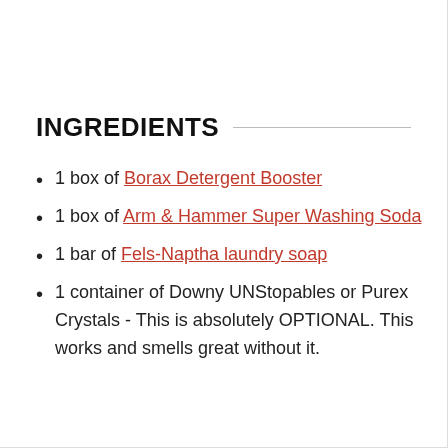INGREDIENTS
1 box of Borax Detergent Booster
1 box of Arm & Hammer Super Washing Soda
1 bar of Fels-Naptha laundry soap
1 container of Downy UNStopables or Purex Crystals - This is absolutely OPTIONAL. This works and smells great without it.